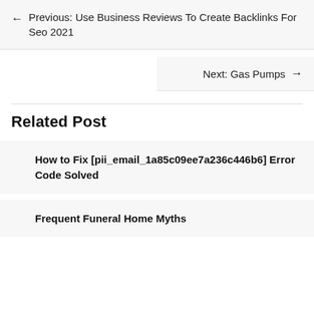← Previous: Use Business Reviews To Create Backlinks For Seo 2021
Next: Gas Pumps →
Related Post
How to Fix [pii_email_1a85c09ee7a236c446b6] Error Code Solved
Frequent Funeral Home Myths